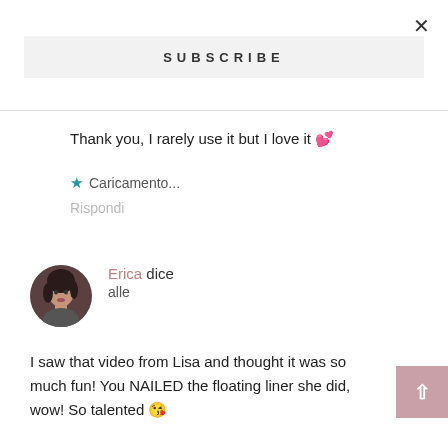×
SUBSCRIBE
Thank you, I rarely use it but I love it 💕
★ Caricamento...
Rispondi
[Figure (photo): Circular avatar photo of a woman with dark hair]
Erica dice alle
I saw that video from Lisa and thought it was so much fun! You NAILED the floating liner she did, wow! So talented 😘